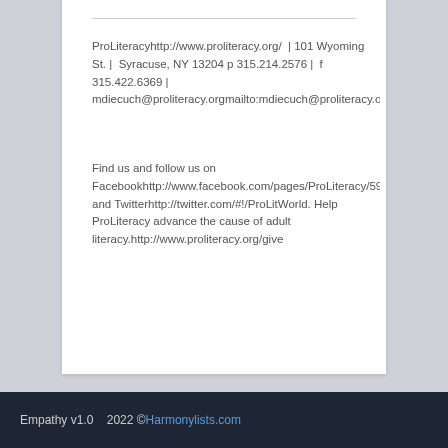ProLiteracyhttp://www.proliteracy.org/  | 101 Wyoming St. |  Syracuse, NY 13204  p 315.214.2576 |  f 315.422.6369 |  mdiecuch@proliteracy.orgmailto:mdiecuch@proliteracy.org
Find us and follow us on Facebookhttp://www.facebook.com/pages/ProLiteracy/596 and Twitterhttp://twitter.com/#!/ProLitWorld. Help ProLiteracy advance the cause of adult literacy.http://www.proliteracy.org/give
Empathy v1.0    2022 ©Harmonylists.com